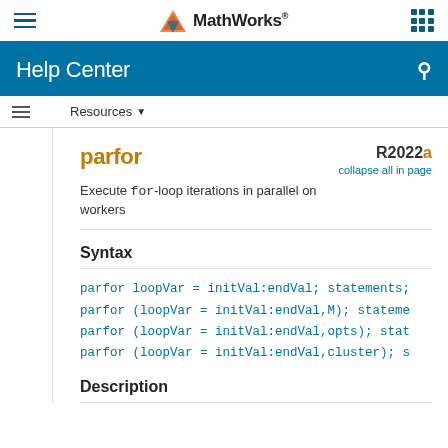MathWorks Help Center
Resources
parfor
Execute for-loop iterations in parallel on workers
R2022a collapse all in page
Syntax
parfor loopVar = initVal:endVal; statements;
parfor (loopVar = initVal:endVal,M); statements
parfor (loopVar = initVal:endVal,opts); stat
parfor (loopVar = initVal:endVal,cluster); s
Description